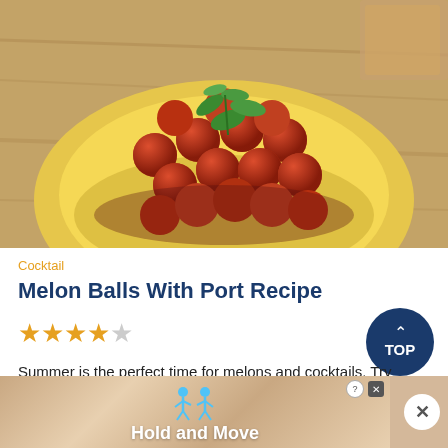[Figure (photo): Photo of melon balls in a halved yellow melon bowl garnished with fresh mint leaves, placed on a wooden surface]
Cocktail
Melon Balls With Port Recipe
★★★★☆
Summer is the perfect time for melons and cocktails. Try creating this wonderfully refreshing drink at home. Your gue...
3 hrs 10 mins
[Figure (screenshot): Advertisement banner for 'Hold and Move' app with cartoon figures and a close/dismiss button]